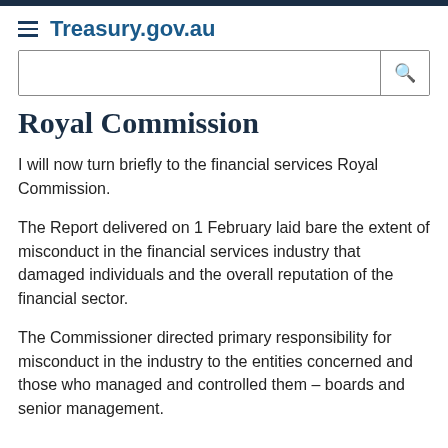Treasury.gov.au
Royal Commission
I will now turn briefly to the financial services Royal Commission.
The Report delivered on 1 February laid bare the extent of misconduct in the financial services industry that damaged individuals and the overall reputation of the financial sector.
The Commissioner directed primary responsibility for misconduct in the industry to the entities concerned and those who managed and controlled them – boards and senior management.